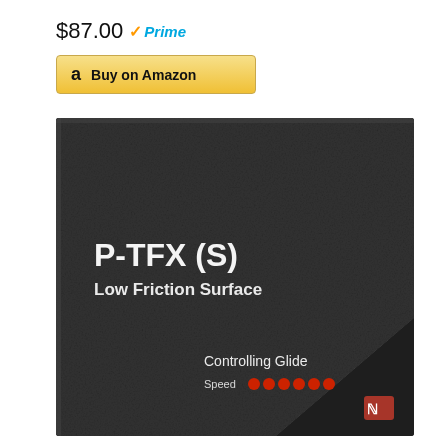$87.00 ✓Prime
Buy on Amazon
[Figure (photo): BenQ Zowie P-TFX (S) gaming mouse pad with low friction surface texture, dark black color. Text on pad reads 'P-TFX (S)', 'Low Friction Surface', 'Controlling Glide', 'Speed' with 6 red dots, and BenQ Zowie logo at bottom right corner.]